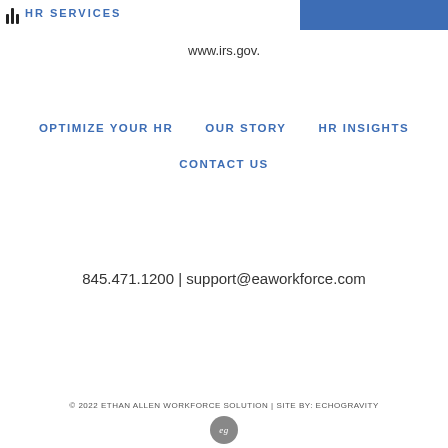HR SERVICES
www.irs.gov.
OPTIMIZE YOUR HR
OUR STORY
HR INSIGHTS
CONTACT US
845.471.1200 | support@eaworkforce.com
© 2022 ETHAN ALLEN WORKFORCE SOLUTION | SITE BY: ECHOGRAVITY